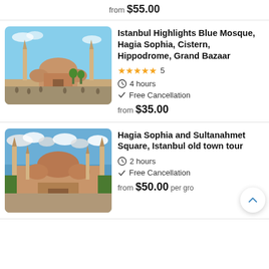from $55.00
Istanbul Highlights Blue Mosque, Hagia Sophia, Cistern, Hippodrome, Grand Bazaar
★★★★★ 5
4 hours
Free Cancellation
from $35.00
Hagia Sophia and Sultanahmet Square, Istanbul old town tour
2 hours
Free Cancellation
from $50.00 per gro